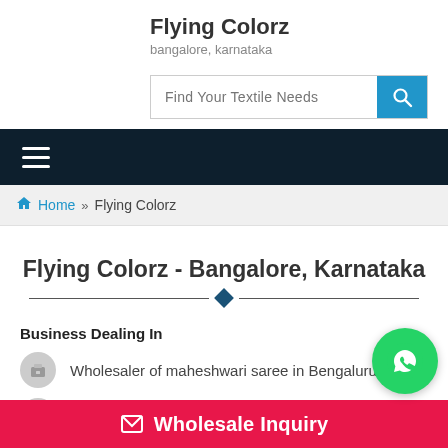Flying Colorz
bangalore, karnataka
Find Your Textile Needs
Navigation menu
Home » Flying Colorz
Flying Colorz - Bangalore, Karnataka
Business Dealing In
Wholesaler of maheshwari saree in Bengaluru
Lowest Rate maheshwari saree in Bengaluru
Wholesale Inquiry